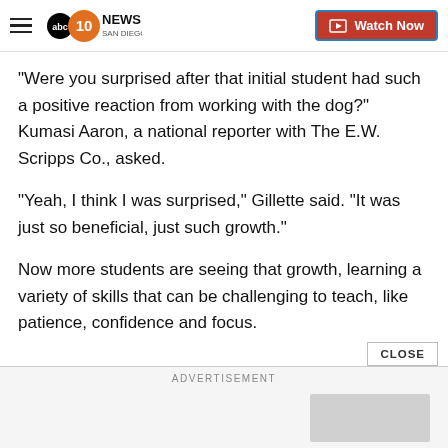ABC 10News San Diego — Watch Now
"Were you surprised after that initial student had such a positive reaction from working with the dog?" Kumasi Aaron, a national reporter with The E.W. Scripps Co., asked.
"Yeah, I think I was surprised," Gillette said. "It was just so beneficial, just such growth."
Now more students are seeing that growth, learning a variety of skills that can be challenging to teach, like patience, confidence and focus.
ADVERTISEMENT